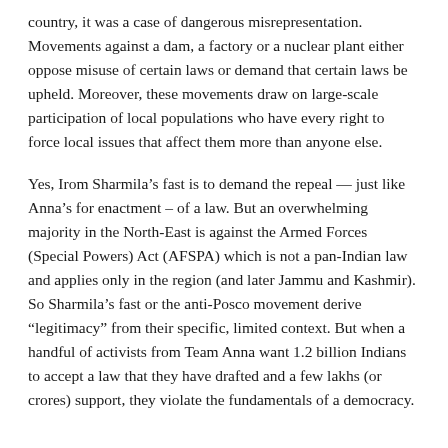country, it was a case of dangerous misrepresentation. Movements against a dam, a factory or a nuclear plant either oppose misuse of certain laws or demand that certain laws be upheld. Moreover, these movements draw on large-scale participation of local populations who have every right to force local issues that affect them more than anyone else.
Yes, Irom Sharmila’s fast is to demand the repeal — just like Anna’s for enactment – of a law. But an overwhelming majority in the North-East is against the Armed Forces (Special Powers) Act (AFSPA) which is not a pan-Indian law and applies only in the region (and later Jammu and Kashmir). So Sharmila’s fast or the anti-Posco movement derive “legitimacy” from their specific, limited context. But when a handful of activists from Team Anna want 1.2 billion Indians to accept a law that they have drafted and a few lakhs (or crores) support, they violate the fundamentals of a democracy.